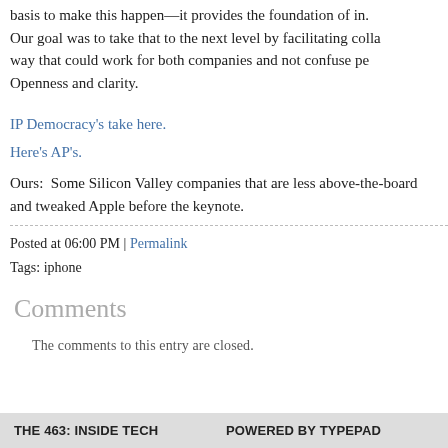basis to make this happen—it provides the foundation of in. Our goal was to take that to the next level by facilitating colla way that could work for both companies and not confuse pe Openness and clarity.
IP Democracy's take here.
Here's AP's.
Ours:  Some Silicon Valley companies that are less above-the-board and tweaked Apple before the keynote.
Posted at 06:00 PM | Permalink
Tags: iphone
Comments
The comments to this entry are closed.
THE 463: INSIDE TECH    POWERED BY TYPEPAD